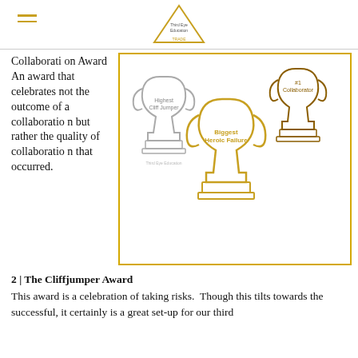Third Eye Education [logo]
Collaboration Award An award that celebrates not the outcome of a collaboration but rather the quality of collaboration that occurred.
[Figure (illustration): Three trophy cups: a silver trophy labeled 'Highest Cliff Jumper', a large gold trophy labeled 'Biggest Heroic Failure', and a bronze trophy labeled '#1 Collaborator'. Third Eye Education watermark visible.]
2 | The Cliffjumper Award
This award is a celebration of taking risks.  Though this tilts towards the successful, it certainly is a great set-up for our third